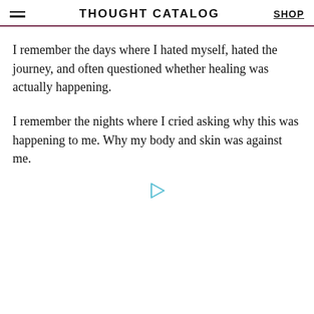THOUGHT CATALOG  SHOP
I remember the days where I hated myself, hated the journey, and often questioned whether healing was actually happening.
I remember the nights where I cried asking why this was happening to me. Why my body and skin was against me.
[Figure (other): Small teal/cyan play button triangle icon]